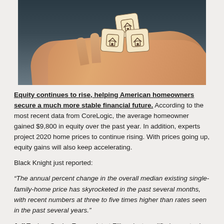[Figure (photo): A hand holding three wooden dice with house icons on them, representing real estate and homeownership.]
Equity continues to rise, helping American homeowners secure a much more stable financial future. According to the most recent data from CoreLogic, the average homeowner gained $9,800 in equity over the past year. In addition, experts project 2020 home prices to continue rising. With prices going up, equity gains will also keep accelerating.
Black Knight just reported:
“The annual percent change in the overall median existing single-family-home price has skyrocketed in the past several months, with recent numbers at three to five times higher than rates seen in the past several years.”
Jeff Tucker, Senior Economist at Zillow, just qualified recent price